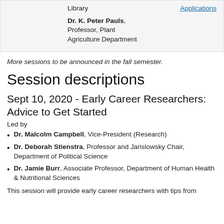Library
Applications
Dr. K. Peter Pauls, Professor, Plant Agriculture Department
More sessions to be announced in the fall semester.
Session descriptions
Sept 10, 2020 - Early Career Researchers: Advice to Get Started
Led by
Dr. Malcolm Campbell, Vice-President (Research)
Dr. Deborah Stienstra, Professor and Jarislowsky Chair, Department of Political Science
Dr. Jamie Burr, Associate Professor, Department of Human Health & Nutritional Sciences
This session will provide early career researchers with tips from